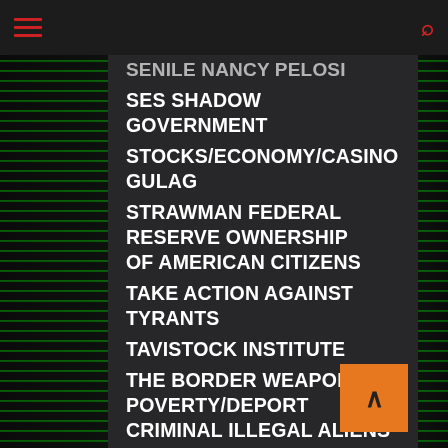Navigation menu with hamburger and search icons
SENILE NANCY PELOSI
SES SHADOW GOVERNMENT
STOCKS/ECONOMY/CASINO GULAG
STRAWMAN FEDERAL RESERVE OWNERSHIP OF AMERICAN CITIZENS
TAKE ACTION AGAINST TYRANTS
TAVISTOCK INSTITUTE
THE BORDER WEAPONIZED POVERTY/DEPORT CRIMINAL ILLEGAL ALIENS
THE CONSTITUTION AND LAW
THE END OF THE DEMOCRATIC PARTY
THE EVIL ROYAL FAMILY
THE PRIVATE FEDERAL RESERVE
THE WAR ON CHRISTIANS
THOUGHT POLICE/BRAIN SCANNERS
TSA PERVERTS AND PEDOPHILES